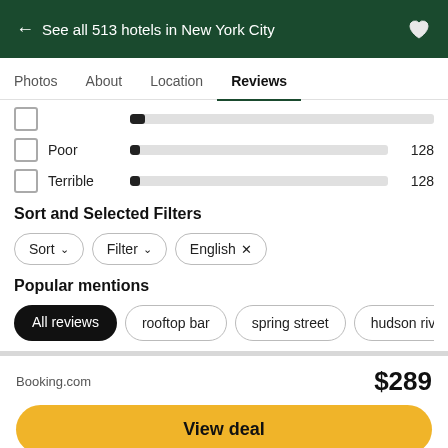← See all 513 hotels in New York City
Photos  About  Location  Reviews
Poor  128
Terrible  128
Sort and Selected Filters
Sort ∨
Filter ∨
English ×
Popular mentions
All reviews
rooftop bar
spring street
hudson river
new yo
Booking.com
$289
View deal
Visit hotel website ↗